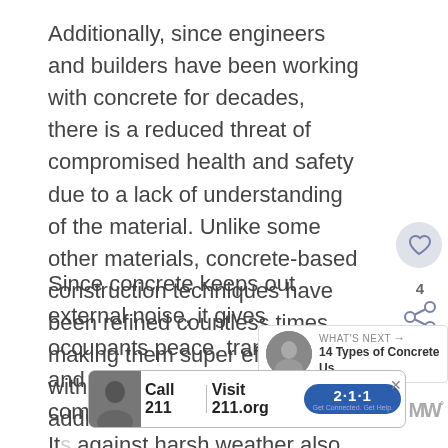Additionally, since engineers and builders have been working with concrete for decades, there is a reduced threat of compromised health and safety due to a lack of understanding of the material. Unlike some other materials, concrete-based construction techniques have been refined countless times, making them super effective, with all concerns long addressed.
Since concrete keeps out external noise, it gives occupants peace, tranquility and a better sense of privacy compared to other structures. Its resistance against harsh weather also means that such occupants can sleep better during heavy rains.
[Figure (screenshot): Ad banner: Call 211 | Visit 211.org with 2-1-1 badge, with a person photo on left]